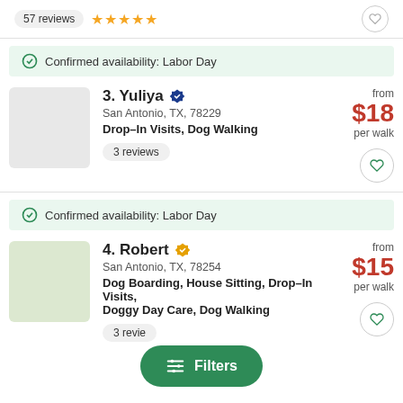57 reviews ★★★★★
Confirmed availability: Labor Day
3. Yuliya — San Antonio, TX, 78229 — Drop-In Visits, Dog Walking — 3 reviews — from $18 per walk
Confirmed availability: Labor Day
4. Robert — San Antonio, TX, 78254 — Dog Boarding, House Sitting, Drop-In Visits, Doggy Day Care, Dog Walking — 3 reviews — from $15 per walk
Filters